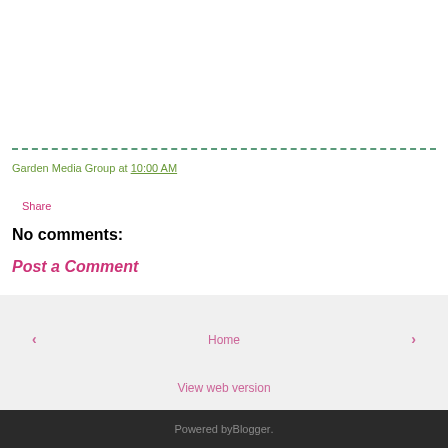Garden Media Group at 10:00 AM
Share
No comments:
Post a Comment
‹
Home
›
View web version
Powered by Blogger.